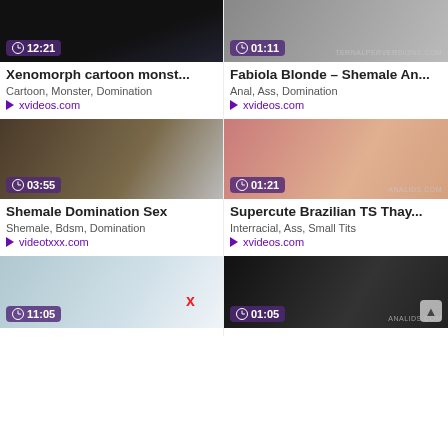[Figure (screenshot): Video thumbnail dark scene with duration 12:21]
Xenomorph cartoon monst...
Cartoon, Monster, Domination
xvideos.com
[Figure (screenshot): Video thumbnail with duration 01:11, watermark TERNALPERVERSIONS.COM]
Fabiola Blonde – Shemale An...
Anal, Ass, Domination
xvideos.com
[Figure (screenshot): Video thumbnail with duration 03:55]
Shemale Domination Sex
Shemale, Bdsm, Domination
videotxxx.com
[Figure (screenshot): Video thumbnail with duration 01:21, watermark ANALIDS.COM]
Supercute Brazilian TS Thay...
Interracial, Ass, Small Tits
xvideos.com
[Figure (screenshot): Video thumbnail 3D animation with duration 11:05, X mark]
[Figure (screenshot): Video thumbnail with duration 01:05, watermark ANALIDS.COM]